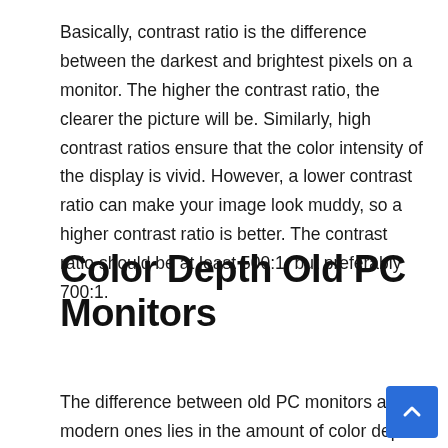Basically, contrast ratio is the difference between the darkest and brightest pixels on a monitor. The higher the contrast ratio, the clearer the picture will be. Similarly, high contrast ratios ensure that the color intensity of the display is vivid. However, a lower contrast ratio can make your image look muddy, so a higher contrast ratio is better. The contrast ratio should be at least 500:1, but preferably 700:1.
Color Depth Old PC Monitors
The difference between old PC monitors and modern ones lies in the amount of color depth they can ...